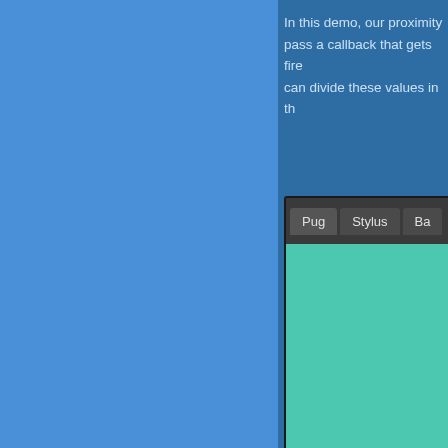In this demo, our proximity pass a callback that gets fire can divide these values in th
[Figure (screenshot): A UI widget with a dark tab bar showing tabs labeled 'Pug', 'Stylus', and 'Ba' (partially visible), with a teal/turquoise content area below.]